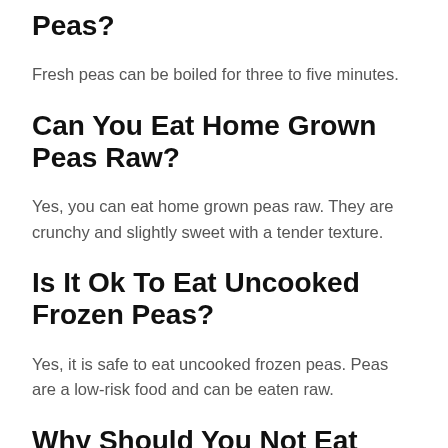Peas?
Fresh peas can be boiled for three to five minutes.
Can You Eat Home Grown Peas Raw?
Yes, you can eat home grown peas raw. They are crunchy and slightly sweet with a tender texture.
Is It Ok To Eat Uncooked Frozen Peas?
Yes, it is safe to eat uncooked frozen peas. Peas are a low-risk food and can be eaten raw.
Why Should You Not Eat Raw